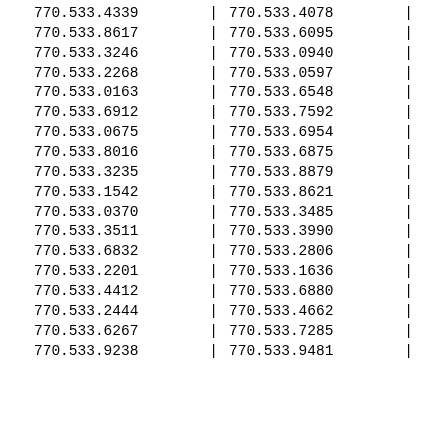| Col1 | Sep | Col2 | Sep |
| --- | --- | --- | --- |
| 770.533.4339 | | | 770.533.4078 | | |
| 770.533.8617 | | | 770.533.6095 | | |
| 770.533.3246 | | | 770.533.0940 | | |
| 770.533.2268 | | | 770.533.0597 | | |
| 770.533.0163 | | | 770.533.6548 | | |
| 770.533.6912 | | | 770.533.7592 | | |
| 770.533.0675 | | | 770.533.6954 | | |
| 770.533.8016 | | | 770.533.6875 | | |
| 770.533.3235 | | | 770.533.8879 | | |
| 770.533.1542 | | | 770.533.8621 | | |
| 770.533.0370 | | | 770.533.3485 | | |
| 770.533.3511 | | | 770.533.3990 | | |
| 770.533.6832 | | | 770.533.2806 | | |
| 770.533.2201 | | | 770.533.1636 | | |
| 770.533.4412 | | | 770.533.6880 | | |
| 770.533.2444 | | | 770.533.4662 | | |
| 770.533.6267 | | | 770.533.7285 | | |
| 770.533.9238 | | | 770.533.9481 | | |